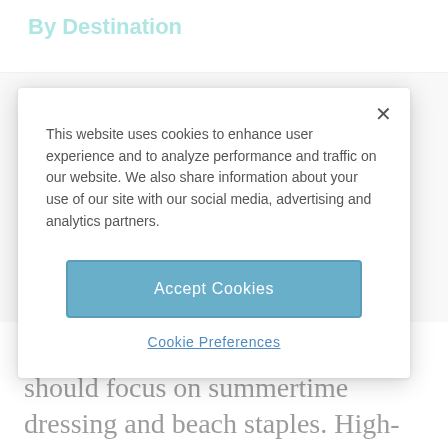By Destination
This website uses cookies to enhance user experience and to analyze performance and traffic on our website. We also share information about your use of our site with our social media, advertising and analytics partners.
Accept Cookies
Cookie Preferences
of Ocean City, Maryland. Packing should focus on summertime dressing and beach staples. High-season summer temps hit the low- to mid-80s, while